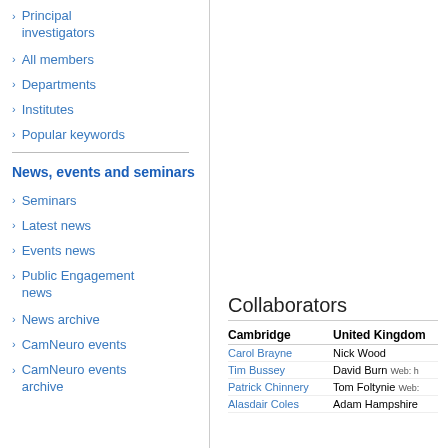Principal investigators
All members
Departments
Institutes
Popular keywords
News, events and seminars
Seminars
Latest news
Events news
Public Engagement news
News archive
CamNeuro events
CamNeuro events archive
Collaborators
| Cambridge | United Kingdom |
| --- | --- |
| Carol Brayne | Nick Wood |
| Tim Bussey | David Burn  Web: h… |
| Patrick Chinnery | Tom Foltynie  Web: |
| Alasdair Coles | Adam Hampshire |